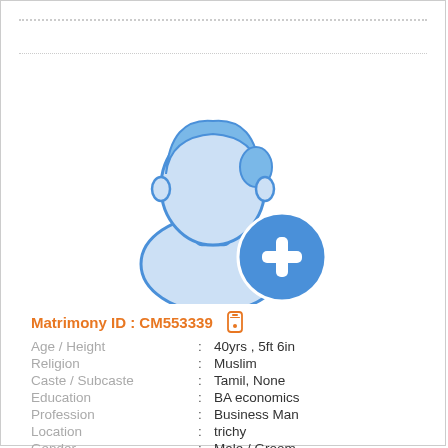[Figure (illustration): Male profile placeholder icon (blue silhouette of a man) with a blue circle containing a white plus sign in the bottom-right corner]
Matrimony ID : CM553339 [mobile icon]
Age / Height : 40yrs , 5ft 6in
Religion : Muslim
Caste / Subcaste : Tamil, None
Education : BA economics
Profession : Business Man
Location : trichy
Gender : Male / Groom
Star / Rasi : Does not matter , Does not matter